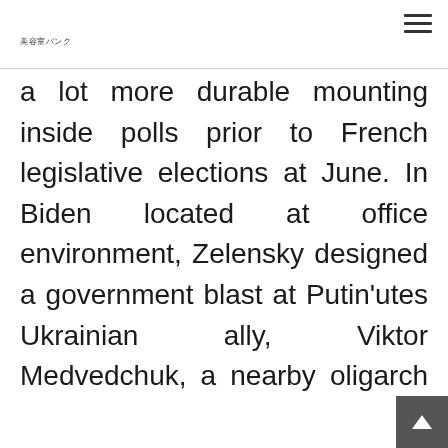美容室バンク
a lot more durable mounting inside polls prior to French legislative elections at June. In Biden located at office environment, Zelensky designed a government blast at Putin'utes Ukrainian ally, Viktor Medvedchuk, a nearby oligarch in which presided with a serious mass media having. At March, he or she given a decree sanctioning Medvedchuk to locate a prohibition their Conduit water ways, which in fact had served to her Counteraction Get together – For years